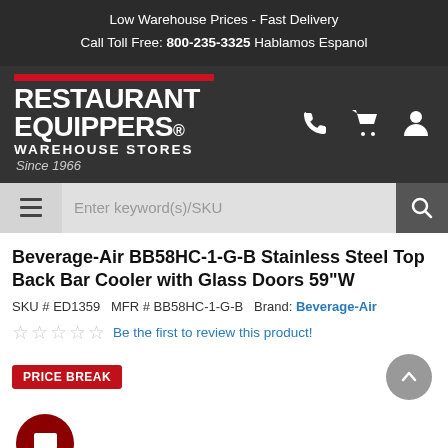Low Warehouse Prices - Fast Delivery
Call Toll Free: 800-235-3325 Hablamos Espanol
[Figure (logo): Restaurant Equippers Warehouse Stores logo with red bar, white text on dark background, and 'Since 1966' tagline. Icons for phone, cart, and user on the right.]
Enter keyword(s)/SKU
Beverage-Air BB58HC-1-G-B Stainless Steel Top Back Bar Cooler with Glass Doors 59"W
SKU # ED1359   MFR # BB58HC-1-G-B   Brand: Beverage-Air
Be the first to review this product!
PRICE BREAK